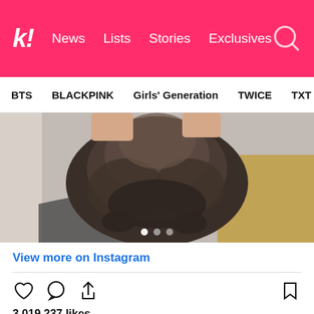Koreaboo | News  Lists  Stories  Exclusives
BTS  BLACKPINK  Girls' Generation  TWICE  TXT  SEVE
[Figure (photo): A cat (Kuma) photographed from above, sitting on a surface with a gold/bronze box visible, light grey background]
View more on Instagram
3,019,237 likes
jennierubyjane
Kuma at shoot
view all 14,418 comments